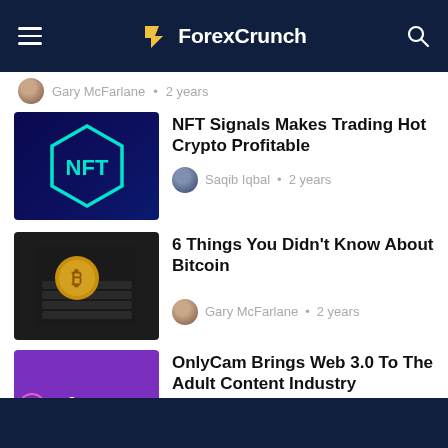ForexCrunch
Gary McFarlane • 2 years
NFT Signals Makes Trading Hot Crypto Profitable
Saqib Iqbal • 2 years
6 Things You Didn't Know About Bitcoin
Gary McFarlane • 2 years
OnlyCam Brings Web 3.0 To The Adult Content Industry
Alan Draper • 2 years